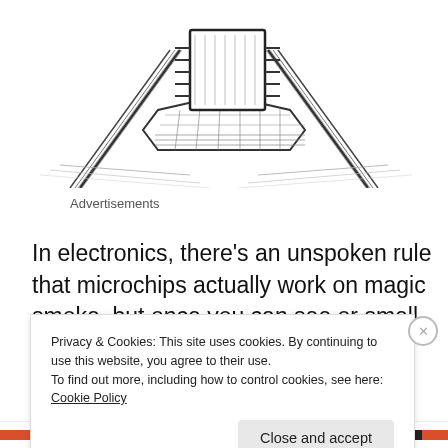[Figure (illustration): Black and white pen-and-ink sketch of an electronic component (likely a microchip or integrated circuit on a platform with legs), partially visible at top of page, cropped]
Advertisements
In electronics, there’s an unspoken rule that microchips actually work on magic smoke, but once you can see or smell that magic smoke coming out of the chip, that chip
Privacy & Cookies: This site uses cookies. By continuing to use this website, you agree to their use.
To find out more, including how to control cookies, see here: Cookie Policy
Close and accept